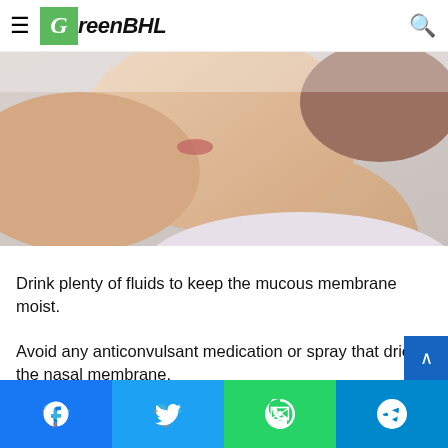GreenBHL
[Figure (photo): Close-up side profile of a woman drinking water or taking medication, hand raised near mouth, neck and chin visible, light background.]
Drink plenty of fluids to keep the mucous membrane moist.
Avoid any anticonvulsant medication or spray that dries the nasal membrane.
Soothe...